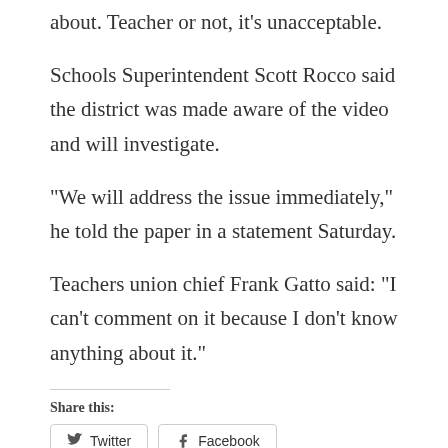about. Teacher or not, it's unacceptable.
Schools Superintendent Scott Rocco said the district was made aware of the video and will investigate.
“We will address the issue immediately,” he told the paper in a statement Saturday.
Teachers union chief Frank Gatto said: “I can’t comment on it because I don’t know anything about it.”
Share this:
Twitter
Facebook
Like this: